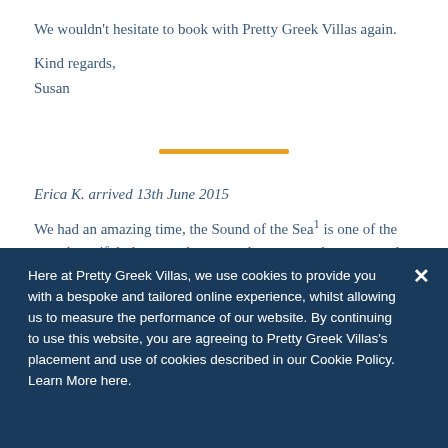We wouldn't hesitate to book with Pretty Greek Villas again.
Kind regards,
Susan
[Figure (other): Orange horizontal divider line]
Erica K. arrived 13th June 2015
We had an amazing time, the Sound of the Sea¹ is one of the most beautiful places we have ever been too and we spent a lot of time before the children travelling, If anyone is looking for a real break peace and quite in a non touristic place then Sound of the Sea is for
Here at Pretty Greek Villas, we use cookies to provide you with a bespoke and tailored online experience, whilst allowing us to measure the performance of our website. By continuing to use this website, you are agreeing to Pretty Greek Villas's placement and use of cookies described in our Cookie Policy. Learn More here.